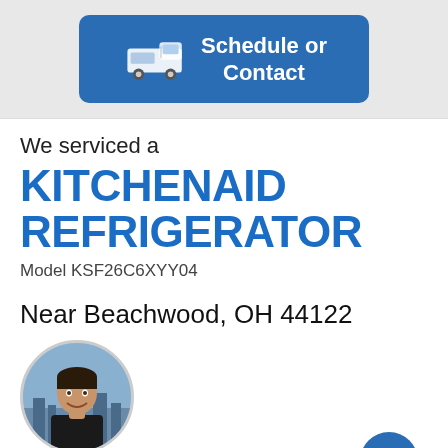[Figure (illustration): Blue button with a service van icon and text 'Schedule or Contact']
We serviced a
KITCHENAID REFRIGERATOR
Model KSF26C6XYY04
Near Beachwood, OH 44122
[Figure (photo): Circular photo of technician Marie V, a smiling person in a black shirt with a city skyline background]
Marie V